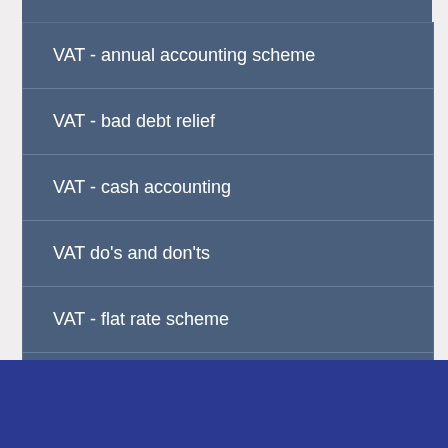VAT - annual accounting scheme
VAT - bad debt relief
VAT - cash accounting
VAT do's and don'ts
VAT - flat rate scheme
VAT - how to survive the enforcement powers